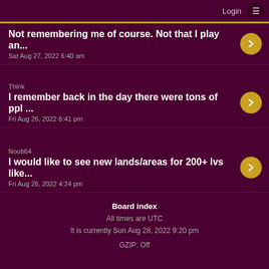Login ☰
Not remembering me of course. Not that I play an... Sat Aug 27, 2022 6:40 am
Think — I remember back in the day there were tons of ppl ... Fri Aug 26, 2022 6:41 pm
Noob64 — I would like to see new lands/areas for 200+ lvs like... Fri Aug 26, 2022 4:24 pm
Board index
All times are UTC
It is currently Sun Aug 28, 2022 9:20 pm
GZIP: Off